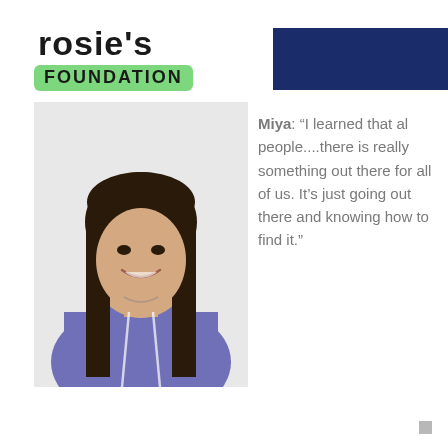[Figure (logo): Rosie's Foundation logo with handwritten-style text and green highlight on FOUNDATION]
[Figure (photo): Portrait photo of a young woman named Miya, smiling, wearing a purple hoodie, with long dark hair, against a light background]
Miya: “I learned that all people....there is really something out there for all of us. It’s just going out there and knowing how to find it.”